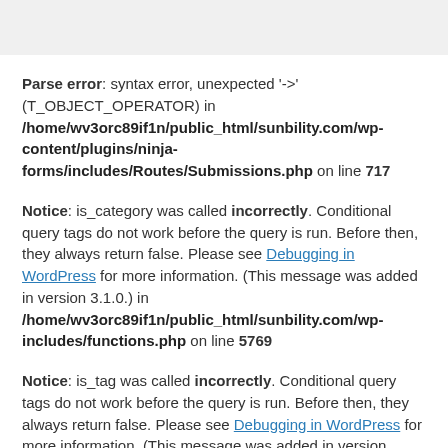Parse error: syntax error, unexpected '->' (T_OBJECT_OPERATOR) in /home/wv3orc89if1n/public_html/sunbility.com/wp-content/plugins/ninja-forms/includes/Routes/Submissions.php on line 717
Notice: is_category was called incorrectly. Conditional query tags do not work before the query is run. Before then, they always return false. Please see Debugging in WordPress for more information. (This message was added in version 3.1.0.) in /home/wv3orc89if1n/public_html/sunbility.com/wp-includes/functions.php on line 5769
Notice: is_tag was called incorrectly. Conditional query tags do not work before the query is run. Before then, they always return false. Please see Debugging in WordPress for more information. (This message was added in version 3.1.0.) in /home/wv3orc89if1n/public_html/sunbility.com/wp-...